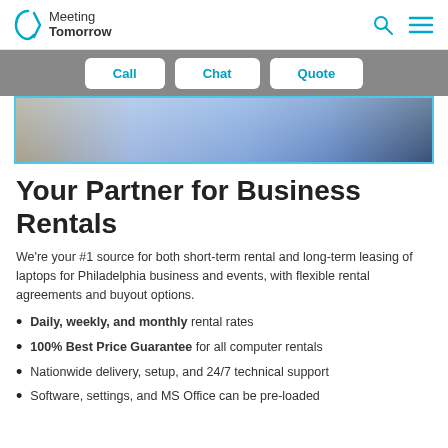Meeting Tomorrow
[Figure (screenshot): Navigation bar with Call, Chat, Quote buttons on gray background, above a blurred hero image of laptops]
Your Partner for Business Rentals
We're your #1 source for both short-term rental and long-term leasing of laptops for Philadelphia business and events, with flexible rental agreements and buyout options.
Daily, weekly, and monthly rental rates
100% Best Price Guarantee for all computer rentals
Nationwide delivery, setup, and 24/7 technical support
Software, settings, and MS Office can be pre-loaded